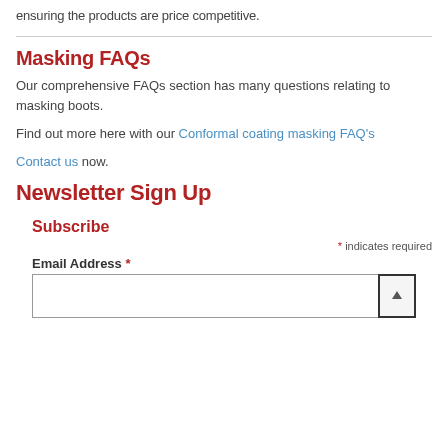ensuring the products are price competitive.
Masking FAQs
Our comprehensive FAQs section has many questions relating to masking boots.
Find out more here with our Conformal coating masking FAQ's
Contact us now.
Newsletter Sign Up
Subscribe
* indicates required
Email Address *